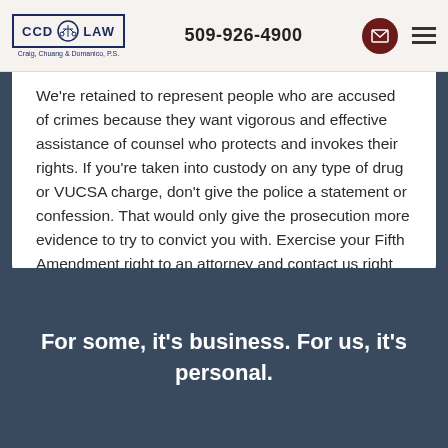CCD LAW | Craig, Chuang & Domanico, P.S. | 509-926-4900
We're retained to represent people who are accused of crimes because they want vigorous and effective assistance of counsel who protects and invokes their rights. If you're taken into custody on any type of drug or VUCSA charge, don't give the police a statement or confession. That would only give the prosecution more evidence to try to convict you with. Exercise your Fifth Amendment right to an attorney and contact us right away.
For some, it's business. For us, it's personal.